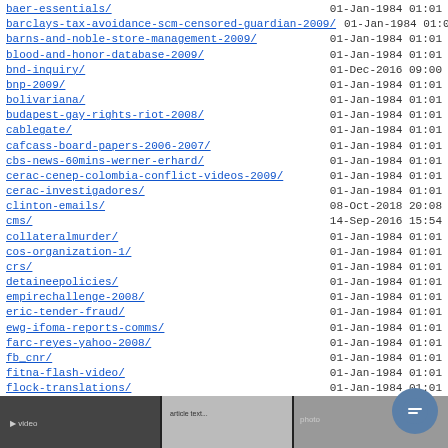baer-essentials/    01-Jan-1984 01:01
barclays-tax-avoidance-scm-censored-guardian-2009/    01-Jan-1984 01:01
barns-and-noble-store-management-2009/    01-Jan-1984 01:01
blood-and-honor-database-2009/    01-Jan-1984 01:01
bnd-inquiry/    01-Dec-2016 09:00
bnp-2009/    01-Jan-1984 01:01
bolivariana/    01-Jan-1984 01:01
budapest-gay-rights-riot-2008/    01-Jan-1984 01:01
cablegate/    01-Jan-1984 01:01
cafcass-board-papers-2006-2007/    01-Jan-1984 01:01
cbs-news-60mins-werner-erhard/    01-Jan-1984 01:01
cerac-cenep-colombia-conflict-videos-2009/    01-Jan-1984 01:01
cerac-investigadores/    01-Jan-1984 01:01
clinton-emails/    08-Oct-2018 20:08
cms/    14-Sep-2016 15:54
collateralmurder/    01-Jan-1984 01:01
cos-organization-1/    01-Jan-1984 01:01
crs/    01-Jan-1984 01:01
detaineepolicies/    01-Jan-1984 01:01
empirechallenge-2008/    01-Jan-1984 01:01
eric-tender-fraud/    01-Jan-1984 01:01
ewg-ifoma-reports-comms/    01-Jan-1984 01:01
farc-reyes-yahoo-2008/    01-Jan-1984 01:01
fb_cnr/    01-Jan-1984 01:01
fitna-flash-video/    01-Jan-1984 01:01
flock-translations/    01-Jan-1984 01:01
freddy-balzan-emails-2005-2008/    01-Jan-1984 01:01
galvin-report-2008/    01-Jan-1984 01:01
gifiles/    01-Jan-1984 01:01
gitmo-supreme-court-censorship-2009/    01-Jan-1984 01:01
hmulv-lcag-thw-kueken/    01-Jan-1984 01:01
icwatch/    28-May-2016 09:05